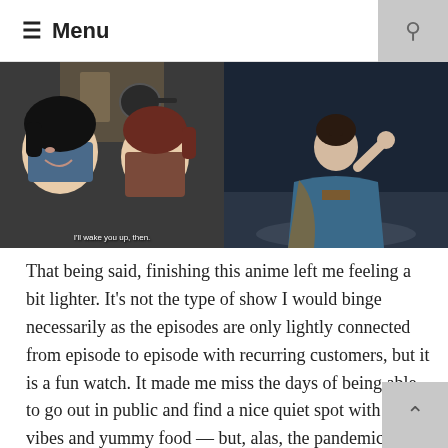≡ Menu
[Figure (photo): Two anime characters close together in a kitchen setting, one with black hair and one with dark red hair; subtitle text reads 'I'll wake you up, then.']
[Figure (photo): An anime character in traditional Japanese clothing standing and gesturing, in a dark outdoor setting.]
That being said, finishing this anime left me feeling a bit lighter. It's not the type of show I would binge necessarily as the episodes are only lightly connected from episode to episode with recurring customers, but it is a fun watch. It made me miss the days of being able to go out in public and find a nice quiet spot with good vibes and yummy food — but, alas, the pandemic is still raging and that's just not an option — PSA: vaccine or not, please continue to wear a mask and social distance from strangers y'all. But this show gave me those feelings of relaxing and rejuvenating and I'd recommend anyone who likes